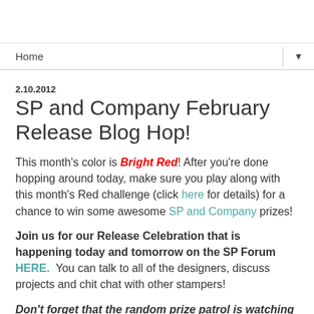Home
2.10.2012
SP and Company February Release Blog Hop!
This month's color is Bright Red! After you're done hopping around today, make sure you play along with this month's Red challenge (click here for details) for a chance to win some awesome SP and Company prizes!
Join us for our Release Celebration that is happening today and tomorrow on the SP Forum HERE.  You can talk to all of the designers, discuss projects and chit chat with other stampers!
Don't forget that the random prize patrol is watching so leave a comment on every blog to be eligible for the